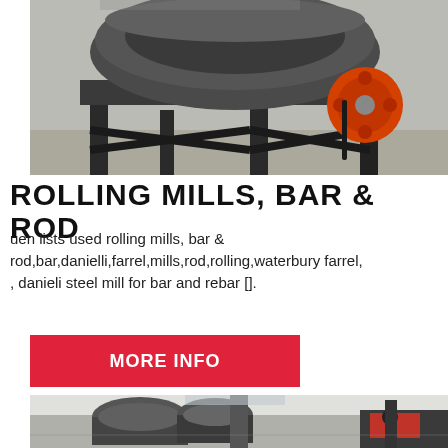[Figure (photo): Industrial rolling mill machine with a large dark bowl-shaped top and an orange/red wheel visible on the right side, mounted on a black steel frame on a concrete floor.]
ROLLING MILLS, BAR & ROD
uen lists used rolling mills, bar & rod,bar,danielli,farrel,mills,rod,rolling,waterbury farrel, , danieli steel mill for bar and rebar [].
MORE INFO
[Figure (photo): Industrial rolling mill equipment in a factory setting, showing large dark cylindrical mill stands and red machinery components.]